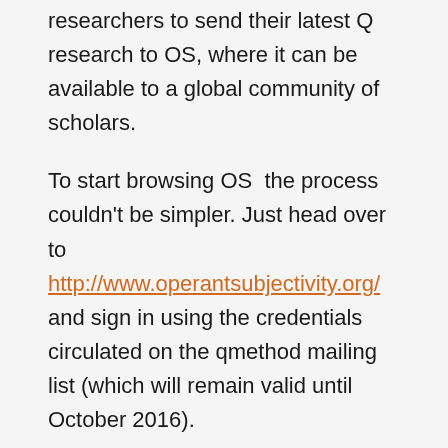researchers to send their latest Q research to OS, where it can be available to a global community of scholars.
To start browsing OS  the process couldn't be simpler. Just head over to http://www.operantsubjectivity.org/ and sign in using the credentials circulated on the qmethod mailing list (which will remain valid until October 2016).
I imagine there will be untold treasures lurking in this back-catalogue, please post links to any gems you uncover with the rest of the IAS community on